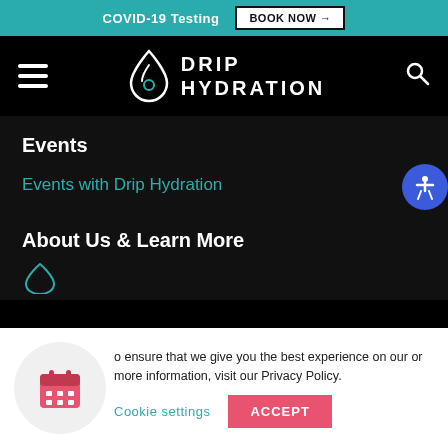COVID-19 Testing  BOOK NOW →
[Figure (logo): Drip Hydration logo with hamburger menu on left and search icon on right, white on black background]
Events
Events with Drip Hydration
About Us & Learn More
[Figure (infographic): Cookie consent banner with calendar icon in grey circle, cookie settings and accept button]
o ensure that we give you the best experience on our or more information, visit our Privacy Policy.
Cookie settings
ACCEPT